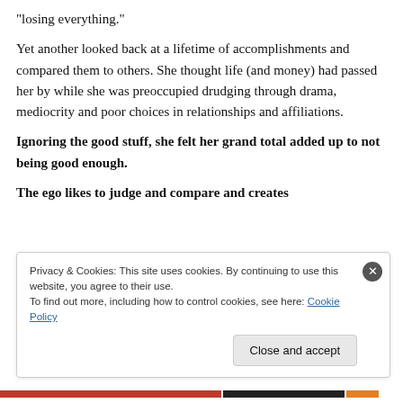“losing everything.”
Yet another looked back at a lifetime of accomplishments and compared them to others. She thought life (and money) had passed her by while she was preoccupied drudging through drama, mediocrity and poor choices in relationships and affiliations.
Ignoring the good stuff, she felt her grand total added up to not being good enough.
The ego likes to judge and compare and creates
Privacy & Cookies: This site uses cookies. By continuing to use this website, you agree to their use.
To find out more, including how to control cookies, see here: Cookie Policy
Close and accept